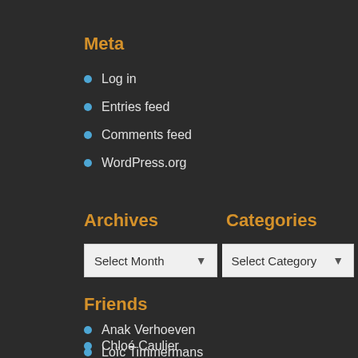Meta
Log in
Entries feed
Comments feed
WordPress.org
Archives
Categories
[Figure (screenshot): Two dropdown selects: 'Select Month' and 'Select Category']
Friends
Anak Verhoeven
Chloé Caulier
Loïc Timmermans